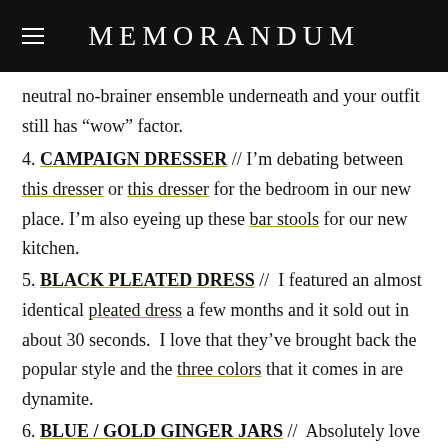MEMORANDUM
neutral no-brainer ensemble underneath and your outfit still has “wow” factor.
4. CAMPAIGN DRESSER // I’m debating between this dresser or this dresser for the bedroom in our new place. I’m also eyeing up these bar stools for our new kitchen.
5. BLACK PLEATED DRESS // I featured an almost identical pleated dress a few months and it sold out in about 30 seconds. I love that they’ve brought back the popular style and the three colors that it comes in are dynamite.
6. BLUE / GOLD GINGER JARS // Absolutely love these